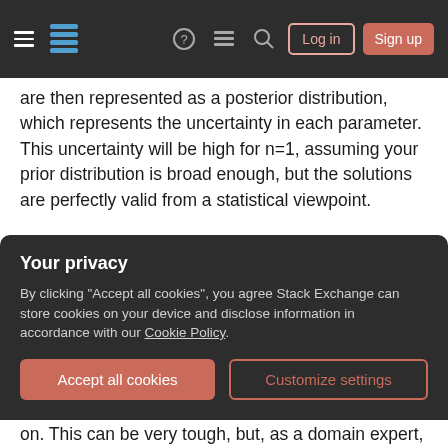Stack Exchange navigation bar with hamburger menu, logo, help, chat, search icons, Log in and Sign up buttons
are then represented as a posterior distribution, which represents the uncertainty in each parameter. This uncertainty will be high for n=1, assuming your prior distribution is broad enough, but the solutions are perfectly valid from a statistical viewpoint.
There are two drawbacks: First, the mathematics can be difficult. It might take you a few weeks or even months to understand this approach and implement it correctly (but this should be better than 3 more years of experiments). Second, picking
Your privacy
By clicking "Accept all cookies", you agree Stack Exchange can store cookies on your device and disclose information in accordance with our Cookie Policy.
on. This can be very tough, but, as a domain expert,